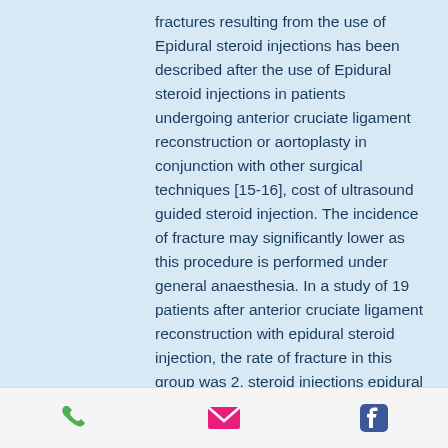fractures resulting from the use of Epidural steroid injections has been described after the use of Epidural steroid injections in patients undergoing anterior cruciate ligament reconstruction or aortoplasty in conjunction with other surgical techniques [15-16], cost of ultrasound guided steroid injection. The incidence of fracture may significantly lower as this procedure is performed under general anaesthesia. In a study of 19 patients after anterior cruciate ligament reconstruction with epidural steroid injection, the rate of fracture in this group was 2, steroid injections epidural cost of.5 times that of the control group [15], steroid injections epidural cost of. However, although the use of epidural steroid injections for this purpose has been linked to an increased risk of major abdominal
[Figure (infographic): Footer bar with three icons: a green phone icon, a pink/red email envelope icon, and a blue Facebook icon]